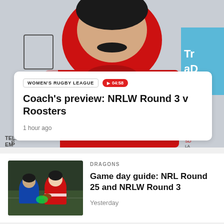[Figure (photo): Man wearing red hoodie with NRLW team branding, Telstra NRL logo visible on left, blue sponsor sign on right]
WOMEN'S RUGBY LEAGUE
04:58
Coach's preview: NRLW Round 3 v Roosters
1 hour ago
[Figure (photo): Rugby league women's players in action, one in red/white Dragons jersey carrying the ball, another in blue Parramatta jersey]
DRAGONS
Game day guide: NRL Round 25 and NRLW Round 3
Yesterday
[Figure (photo): Partially visible thumbnail of rugby players at bottom of page]